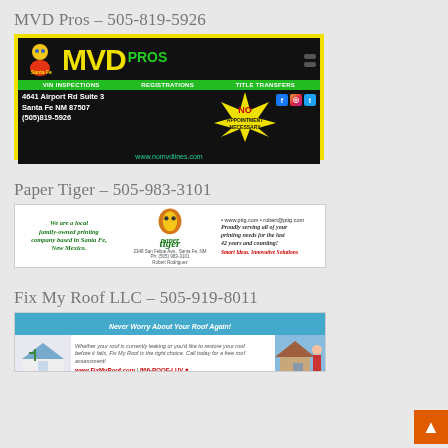MVD Pros – 505-819-5926
[Figure (photo): MVD Pros advertisement: black background with yellow border, large yellow MVD text and green PROS, green bar with VIN INSPECTIONS, REGISTRATIONS, TITLE TRANSFERS, address 4641 Airport Rd Suite 3, Santa Fe NM 87507, (505)819-5926, NO APPOINTMENT NECESSARY starburst, social media icons, www.nomvdlines.com]
Paper Tiger – 505-983-3101
[Figure (photo): Paper Tiger printing company advertisement: white background, green italic text 'We are a local family-owned printing company based in Santa Fe, New Mexico.', paper tiger logo in center, right side text 'Proudly serving all of your printing needs for the last 42 years and counting! Smart Ideas. Innovative Solutions']
Fix My Roof LLC – 505-919-8011
[Figure (photo): Fix My Roof LLC advertisement: blue top bar 'Never Worry About Your Roof Again!', Fix My Roof logo on left, body text about leaking roof, www.FixMyRoof.com | 866-ROOF-LUV with heart, photo of house on right]